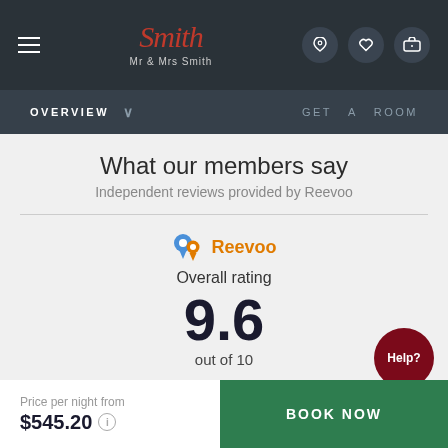Mr & Mrs Smith — Navigation header with logo, hamburger menu, and icons
OVERVIEW  ∨    GET A ROOM
What our members say
Independent reviews provided by Reevoo
[Figure (infographic): Reevoo logo with blue and orange pin icons, Overall rating 9.6 out of 10]
Cleanliness
Price per night from $545.20
BOOK NOW